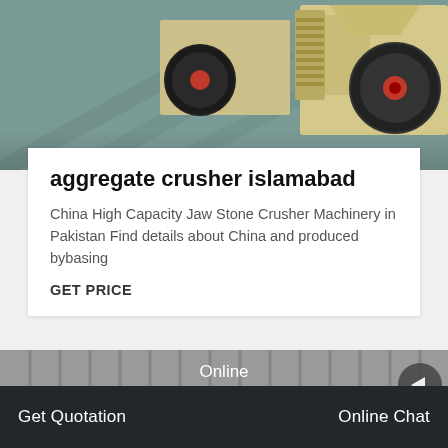[Figure (photo): Industrial jaw stone crusher machinery with large flywheels, photographed in a factory/warehouse setting. Multiple machines lined up.]
aggregate crusher islamabad
China High Capacity Jaw Stone Crusher Machinery in Pakistan Find details about China and produced bybasing
GET PRICE
[Figure (photo): Row of large jaw crusher machines with prominent red and white flywheels inside an industrial building.]
Online
Get Quotation
Online Chat